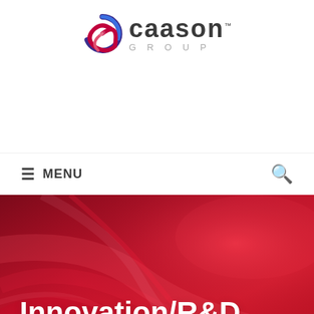[Figure (logo): Caason Group logo with a colorful swirl icon and company name]
≡ MENU
[Figure (illustration): Red dynamic abstract background banner with 'Innovation/R&D' white bold text overlay]
Innovation/R&D